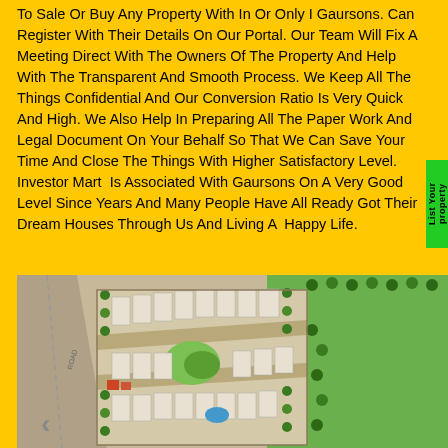To Sale Or Buy Any Property With In Or Only I Gaursons. Can Register With Their Details On Our Portal. Our Team Will Fix A Meeting Direct With The Owners Of The Property And Help With The Transparent And Smooth Process. We Keep All The Things Confidential And Our Conversion Ratio Is Very Quick And High. We Also Help In Preparing All The Paper Work And Legal Document On Your Behalf So That We Can Save Your Time And Close The Things With Higher Satisfactory Level. Investor Mart  Is Associated With Gaursons On A Very Good Level Since Years And Many People Have All Ready Got Their Dream Houses Through Us And Living A  Happy Life.
[Figure (map): Aerial/plan view map of a residential property layout showing plots, roads, green spaces, trees, and buildings arranged in a community development plan]